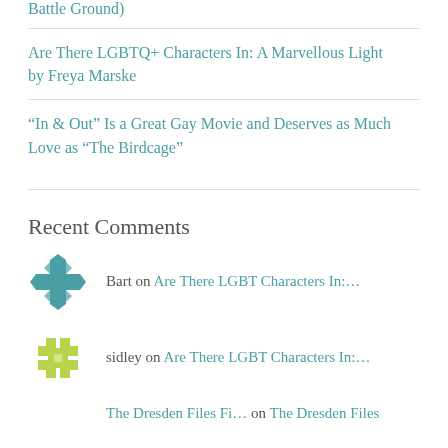Battle Ground)
Are There LGBTQ+ Characters In: A Marvellous Light by Freya Marske
“In & Out” Is a Great Gay Movie and Deserves as Much Love as “The Birdcage”
Recent Comments
Bart on Are There LGBT Characters In:...
sidley on Are There LGBT Characters In:...
The Dresden Files Fi... on The Dresden Files